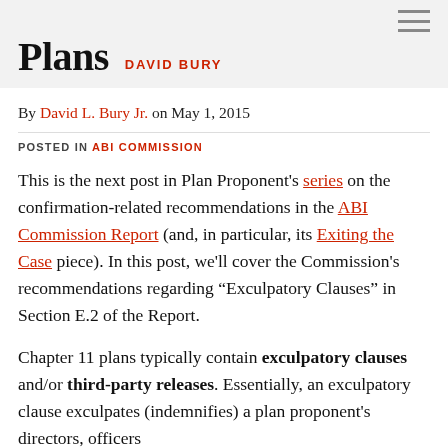Plans  DAVID BURY
By David L. Bury Jr. on May 1, 2015
POSTED IN ABI COMMISSION
This is the next post in Plan Proponent's series on the confirmation-related recommendations in the ABI Commission Report (and, in particular, its Exiting the Case piece). In this post, we'll cover the Commission's recommendations regarding “Exculpatory Clauses” in Section E.2 of the Report.
Chapter 11 plans typically contain exculpatory clauses and/or third-party releases. Essentially, an exculpatory clause exculpates (indemnifies) a plan proponent’s directors, officers…